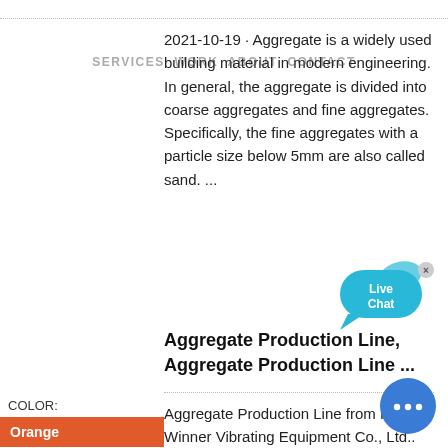2021-10-19 · Aggregate is a widely used building material in modern engineering. In general, the aggregate is divided into coarse aggregates and fine aggregates. Specifically, the fine aggregates with a particle size below 5mm are also called sand. ...
SERVICES  WORK  ABOUT  CONTACT
[Figure (illustration): Live Chat speech bubble widget in cyan/blue color with close X button]
Aggregate Production Line, Aggregate Production Line ...
COLOR:
Orange
Blue
Yellow
Aggregate Production Line from Henan Winner Vibrating Equipment Co., Ltd.. Search High Quality Aggregate Production Line Manufacturing and Exporting supplier on Alibaba . ... China Aggregate Stone /Sand Crushing plant Production Line FOR mining industry. $220,000.00 - $1,000,000.00 / Set. 1 Set (Min. Order) Pakistan crushing plant ho
[Figure (illustration): Blue circle chat button with three dots (messenger icon)]